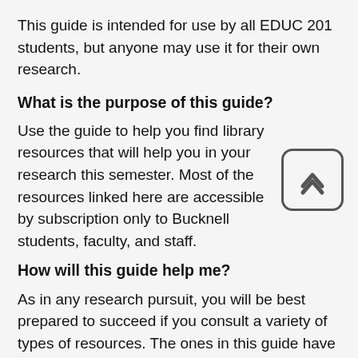This guide is intended for use by all EDUC 201 students, but anyone may use it for their own research.
What is the purpose of this guide?
Use the guide to help you find library resources that will help you in your research this semester. Most of the resources linked here are accessible by subscription only to Bucknell students, faculty, and staff.
[Figure (illustration): A rounded square icon with an upward chevron/arrow symbol, indicating a scroll-to-top or expand action.]
How will this guide help me?
As in any research pursuit, you will be best prepared to succeed if you consult a variety of types of resources. The ones in this guide have been selected to specifically address your research needs.